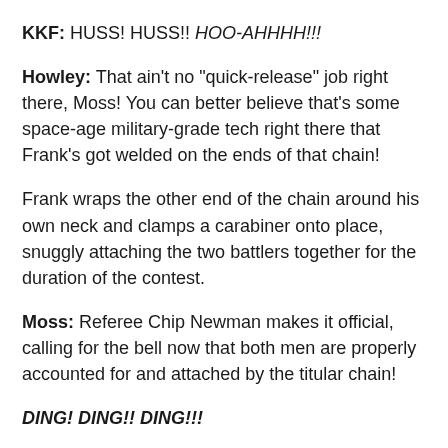KKF: HUSS! HUSS!! HOO-AHHHH!!!
Howley: That ain't no "quick-release" job right there, Moss! You can better believe that's some space-age military-grade tech right there that Frank's got welded on the ends of that chain!
Frank wraps the other end of the chain around his own neck and clamps a carabiner onto place, snuggly attaching the two battlers together for the duration of the contest.
Moss: Referee Chip Newman makes it official, calling for the bell now that both men are properly accounted for and attached by the titular chain!
DING! DING!! DING!!!
Howley: Wish you weren't so awkward, bud…